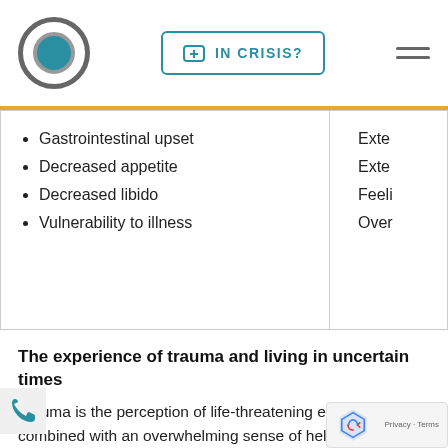IN CRISIS?
Gastrointestinal upset
Decreased appetite
Decreased libido
Vulnerability to illness
Exte[rnal]
Exte[rnal]
Feeli[ng]
Over[whelmed]
The experience of trauma and living in uncertain times
Trauma is the perception of life-threatening experience combined with an overwhelming sense of helplessness to do anything about it. The nervous system becomes so stressed that it stops functioning normally and doesn't return to a normal state of balance; instead, we stay frozen anxious or stuck in some debilitating way that